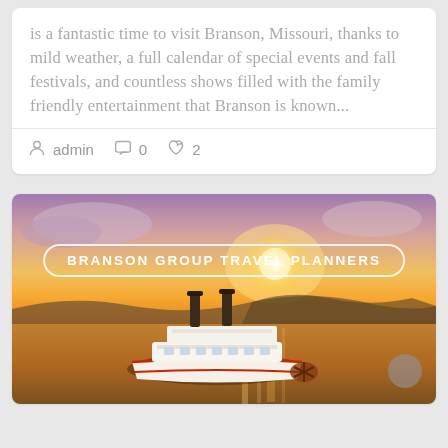is a fantastic time to visit Branson, Missouri, thanks to mild weather, a full calendar of special events and fall festivals, and countless shows filled with the family friendly entertainment that Branson is known...
admin  0  2
[Figure (photo): Riverboat/paddlesteamer on a lake at golden sunset, with text overlay 'BRANSON GROUP TRAVEL PLANNERS' in a rounded rectangle border]